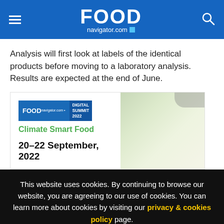FOODnavigator.com
Analysis will first look at labels of the identical products before moving to a laboratory analysis. Results are expected at the end of June.
[Figure (infographic): Food Navigator Digital Summit 2022 Climate Smart Food advertisement banner with dates 20-22 September, 2022]
This website uses cookies. By continuing to browse our website, you are agreeing to our use of cookies. You can learn more about cookies by visiting our privacy & cookies policy page.